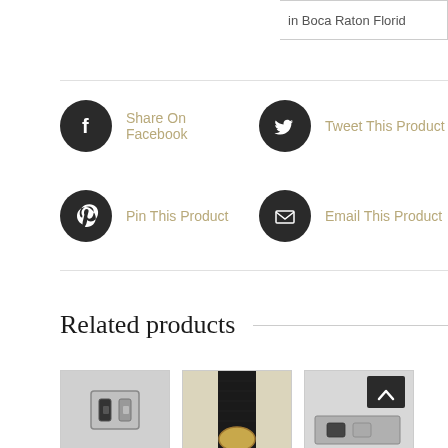in Boca Raton Florid
Share On Facebook
Tweet This Product
Pin This Product
Email This Product
Related products
[Figure (photo): Three watch-related product images at bottom of page]